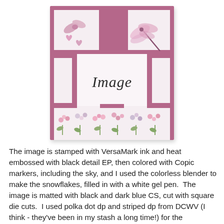[Figure (illustration): A decorative greeting card design with a mauve/purple frame border, white panels, cursive 'Image' text in center, pink dragonfly in upper right, pink bow and hearts in upper left, and a row of pink flowers along the bottom.]
The image is stamped with VersaMark ink and heat embossed with black detail EP, then colored with Copic markers, including the sky, and I used the colorless blender to make the snowflakes, filled in with a white gel pen. The image is matted with black and dark blue CS, cut with square die cuts. I used polka dot dp and striped dp from DCWV (I think - they've been in my stash a long time!) for the background papers and used lace ribbon from Really Reasonable Ribbon to make the vertical lines of the sketch. I added Stickles to the snow and the candle flame. For